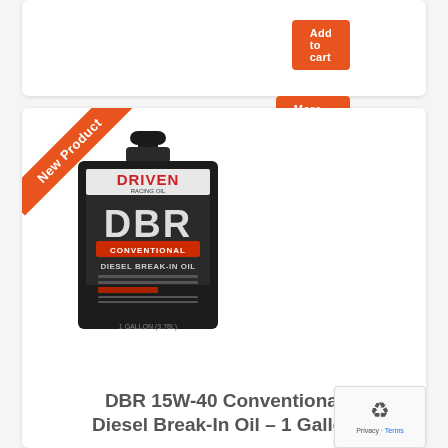[Figure (screenshot): Add to cart orange button at top right of card]
[Figure (screenshot): More Details orange button below Add to cart]
[Figure (photo): Driven Racing Oil DBR Conventional Diesel Break-In Oil 1 gallon jug with orange New Product ribbon banner in upper left corner]
DBR 15W-40 Conventional Diesel Break-In Oil – 1 Gallon